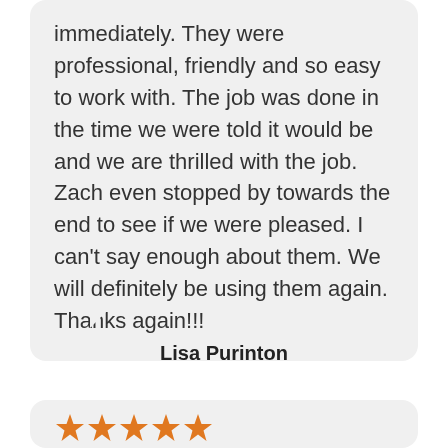immediately. They were professional, friendly and so easy to work with. The job was done in the time we were told it would be and we are thrilled with the job. Zach even stopped by towards the end to see if we were pleased. I can't say enough about them. We will definitely be using them again. Thanks again!!!
Lisa Purinton
[Figure (other): Five orange star rating icons indicating a 5-star review]